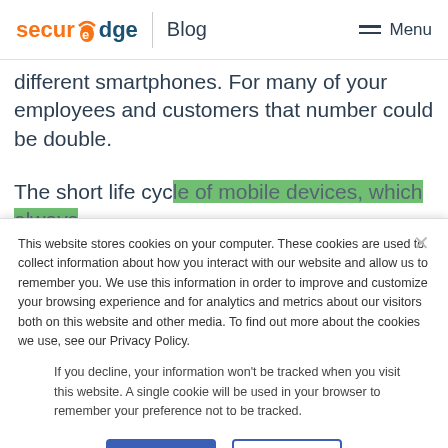securedge Blog Menu
different smartphones. For many of your employees and customers that number could be double.
The short life cycle of mobile devices, which always bring new mobile
This website stores cookies on your computer. These cookies are used to collect information about how you interact with our website and allow us to remember you. We use this information in order to improve and customize your browsing experience and for analytics and metrics about our visitors both on this website and other media. To find out more about the cookies we use, see our Privacy Policy.
If you decline, your information won't be tracked when you visit this website. A single cookie will be used in your browser to remember your preference not to be tracked.